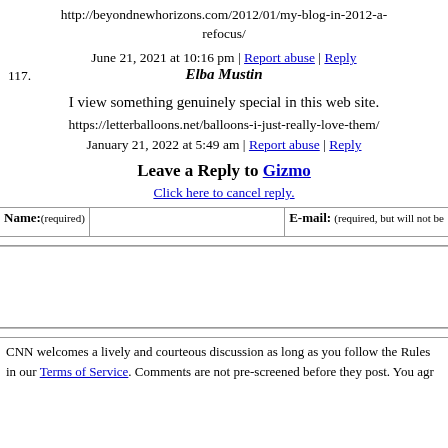http://beyondnewhorizons.com/2012/01/my-blog-in-2012-a-refocus/
June 21, 2021 at 10:16 pm | Report abuse | Reply
117.   Elba Mustin
I view something genuinely special in this web site.
https://letterballoons.net/balloons-i-just-really-love-them/
January 21, 2022 at 5:49 am | Report abuse | Reply
Leave a Reply to Gizmo
Click here to cancel reply.
Name:(required)   E-mail: (required, but will not be
CNN welcomes a lively and courteous discussion as long as you follow the Rules in our Terms of Service. Comments are not pre-screened before they post. You agr